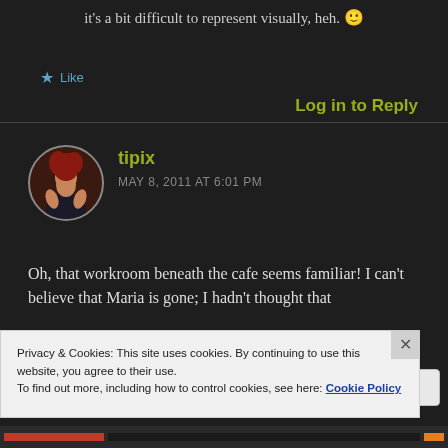it's a bit difficult to represent visually, heh. 🙂
★ Like
Log in to Reply
tipix
MAY 8, 2011 AT 6:01 PM
[Figure (photo): Avatar photo of user tipix — person with red hair]
Oh, that workroom beneath the cafe seems familiar! I can't believe that Maria is gone; I hadn't thought that
Privacy & Cookies: This site uses cookies. By continuing to use this website, you agree to their use.
To find out more, including how to control cookies, see here: Cookie Policy
Close and accept